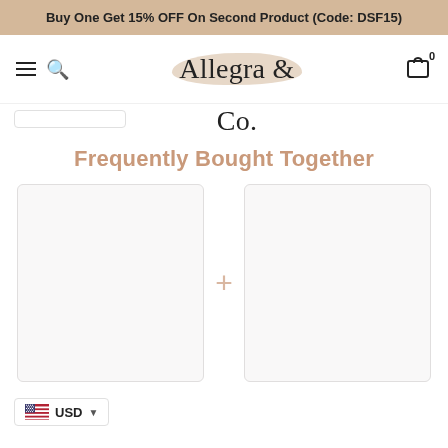Buy One Get 15% OFF On Second Product (Code: DSF15)
[Figure (logo): Allegra & Co. logo with brush stroke background]
Frequently Bought Together
[Figure (other): Two product image placeholders side by side with a plus sign between them]
USD
Total Price: .92  $149.90
You save: $29.98